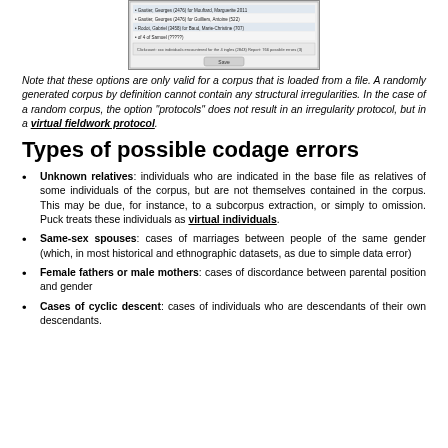[Figure (screenshot): Screenshot of a software interface showing a list of individuals in a corpus with names and identifiers]
Note that these options are only valid for a corpus that is loaded from a file. A randomly generated corpus by definition cannot contain any structural irregularities. In the case of a random corpus, the option "protocols" does not result in an irregularity protocol, but in a virtual fieldwork protocol.
Types of possible codage errors
Unknown relatives: individuals who are indicated in the base file as relatives of some individuals of the corpus, but are not themselves contained in the corpus. This may be due, for instance, to a subcorpus extraction, or simply to omission. Puck treats these individuals as virtual individuals.
Same-sex spouses: cases of marriages between people of the same gender (which, in most historical and ethnographic datasets, as due to simple data error)
Female fathers or male mothers: cases of discordance between parental position and gender
Cases of cyclic descent: cases of individuals who are descendants of their own descendants.